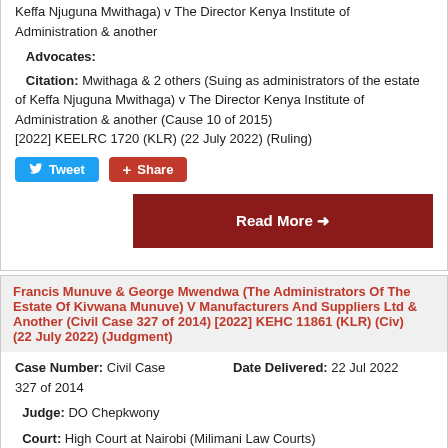Keffa Njuguna Mwithaga) v The Director Kenya Institute of Administration & another
Advocates:
Citation: Mwithaga & 2 others (Suing as administrators of the estate of Keffa Njuguna Mwithaga) v The Director Kenya Institute of Administration & another (Cause 10 of 2015) [2022] KEELRC 1720 (KLR) (22 July 2022) (Ruling)
Tweet | Share
Read More →
Francis Munuve & George Mwendwa (The Administrators Of The Estate Of Kivwana Munuve) V Manufacturers And Suppliers Ltd & Another (Civil Case 327 of 2014) [2022] KEHC 11861 (KLR) (Civ) (22 July 2022) (Judgment)
Case Number: Civil Case 327 of 2014
Date Delivered: 22 Jul 2022
Judge: DO Chepkwony
Court: High Court at Nairobi (Milimani Law Courts)